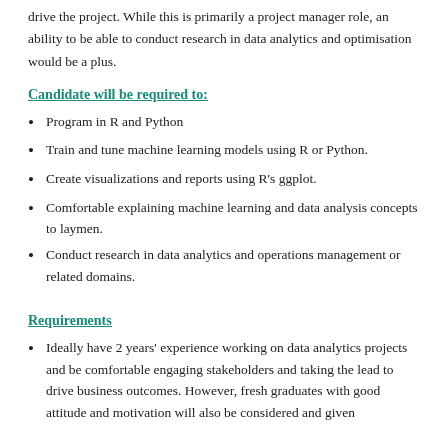drive the project. While this is primarily a project manager role, an ability to be able to conduct research in data analytics and optimisation would be a plus.
Candidate will be required to:
Program in R and Python
Train and tune machine learning models using R or Python.
Create visualizations and reports using R's ggplot.
Comfortable explaining machine learning and data analysis concepts to laymen.
Conduct research in data analytics and operations management or related domains.
Requirements
Ideally have 2 years' experience working on data analytics projects and be comfortable engaging stakeholders and taking the lead to drive business outcomes. However, fresh graduates with good attitude and motivation will also be considered and given